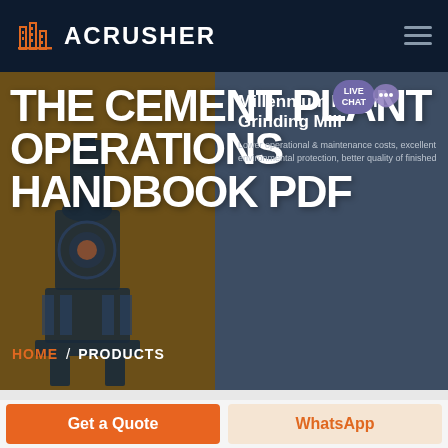ACRUSHER
THE CEMENT PLANT OPERATIONS HANDBOOK PDF
Millennium Roller Grinding Mill
Lower operational & maintenance costs, excellent environmental protection, better quality of finished
HOME / PRODUCTS
Get a Quote
WhatsApp